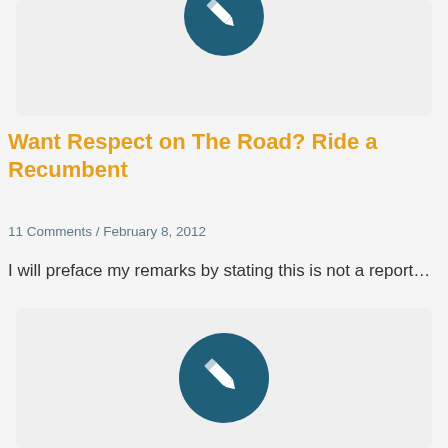[Figure (illustration): Circular dark teal icon with a white pencil/edit symbol, shown at top of a light gray card, partially cropped at top]
Want Respect on The Road? Ride a Recumbent
11 Comments / February 8, 2012
I will preface my remarks by stating this is not a report…
[Figure (illustration): Circular dark teal icon with a white pencil/edit symbol, centered in a light gray card]